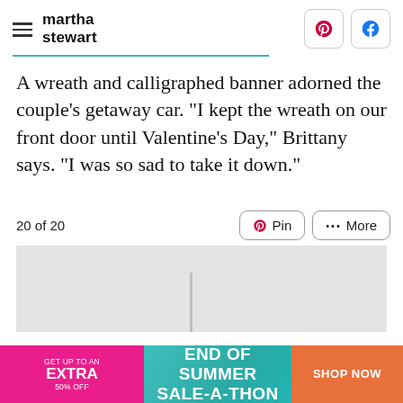martha stewart
A wreath and calligraphed banner adorned the couple's getaway car. "I kept the wreath on our front door until Valentine's Day," Brittany says. "I was so sad to take it down."
20 of 20
[Figure (photo): Partial photo visible below the 20 of 20 counter — a light gray background with a faint vertical element]
[Figure (screenshot): Ad banner: GET UP TO AN EXTRA 50% OFF | END OF SUMMER SALE-A-THON | SHOP NOW]